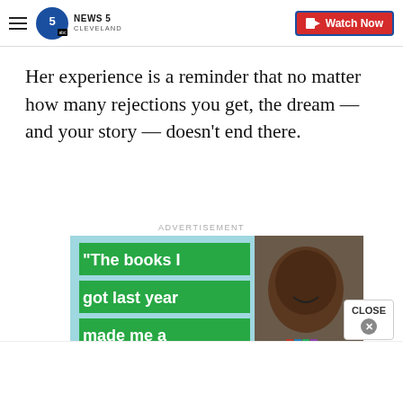NEWS 5 CLEVELAND | Watch Now
Her experience is a reminder that no matter how many rejections you get, the dream — and your story — doesn't end there.
ADVERTISEMENT
[Figure (photo): Advertisement image showing a smiling young boy holding books with text overlay on green background reading: 'The books I got last year made me a better reader']